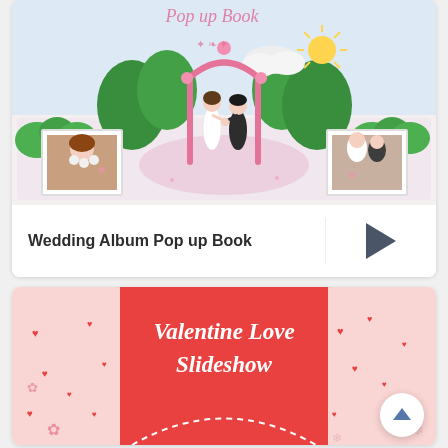[Figure (illustration): Wedding Album Pop up Book illustration showing a 3D paper pop-up scene with a bride and groom under a floral arch, green trees and bushes, wedding photos on either side, on a decorative book background.]
Wedding Album Pop up Book
[Figure (illustration): Valentine Love Slideshow promotional image with red center panel showing cursive white text 'Valentine Love Slideshow' on a red background with a dashed white arch, flanked by light pink panels with heart decorations.]